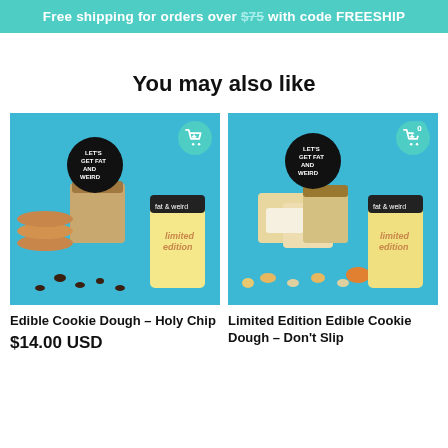Free shipping for orders over $75 with code FREESHIP
You may also like
[Figure (photo): Product photo of Edible Cookie Dough - Holy Chip showing cookie dough in a cup, chocolate chip cookies, chocolate chips, and a limited edition jar on blue background]
Edible Cookie Dough – Holy Chip
$14.00 USD
[Figure (photo): Product photo of Limited Edition Edible Cookie Dough - Don't Slip showing dough pieces, peanuts, and a limited edition jar on blue background]
Limited Edition Edible Cookie Dough – Don't Slip